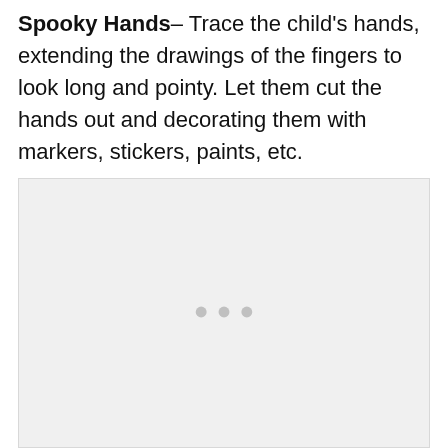Spooky Hands– Trace the child's hands, extending the drawings of the fingers to look long and pointy. Let them cut the hands out and decorating them with markers, stickers, paints, etc.
[Figure (photo): A light gray placeholder image area with three small gray dots near the center, representing a loading or empty image carousel.]